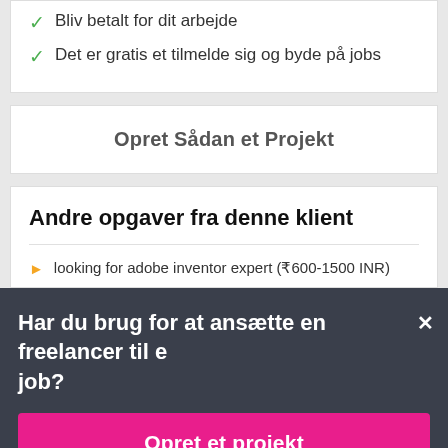✓ Bliv betalt for dit arbejde
✓ Det er gratis et tilmelde sig og byde på jobs
Opret Sådan et Projekt
Andre opgaver fra denne klient
looking for adobe inventor expert (₹600-1500 INR)
Har du brug for at ansætte en freelancer til et job?
Opret et projekt